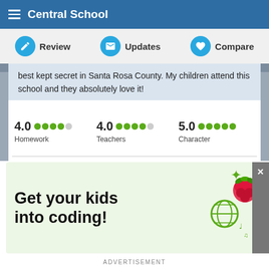Central School
Review   Updates   Compare
best kept secret in Santa Rosa County. My children attend this school and they absolutely love it!
4.0 Homework   4.0 Teachers   5.0 Character
Helpful (0)   Report
Parent / Guardian
★★★★★  May 13, 2011
You could not ask for a better Principal or Teachers, they actually care about the kids and the school is
[Figure (screenshot): Advertisement banner with light green background reading 'Get your kids into coding!' with sparkle icons, globe icon, music notes, and a raspberry/Raspberry Pi logo.]
ADVERTISEMENT